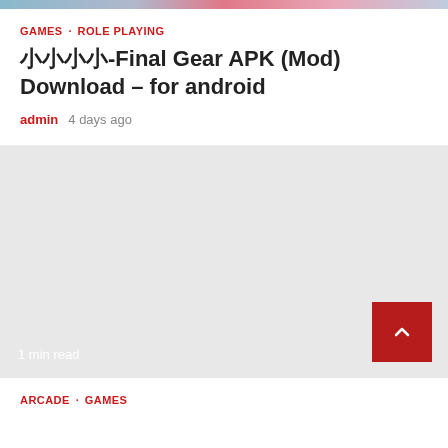[Figure (photo): Cropped top portion of article card images showing colorful anime/game characters]
GAMES · ROLE PLAYING
󾓫󾓫󾓫󾓫-Final Gear APK (Mod) Download – for android
admin  4 days ago
[Figure (other): Grey advertisement/placeholder block with '1 min read' label and red scroll-to-top button]
ARCADE · GAMES